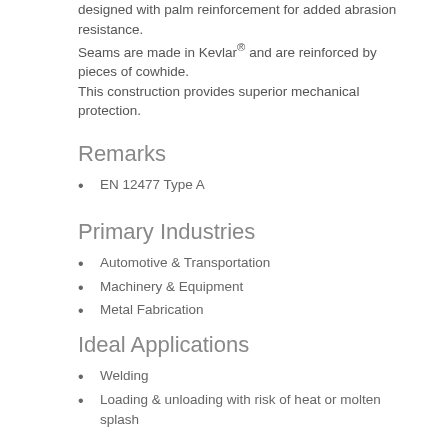designed with palm reinforcement for added abrasion resistance.
Seams are made in Kevlar® and are reinforced by pieces of cowhide.
This construction provides superior mechanical protection.
Remarks
EN 12477 Type A
Primary Industries
Automotive & Transportation
Machinery & Equipment
Metal Fabrication
Ideal Applications
Welding
Loading & unloading with risk of heat or molten splash
Category III
[Figure (illustration): Two safety icons: mechanical risk icon and fire/molten splash icon]